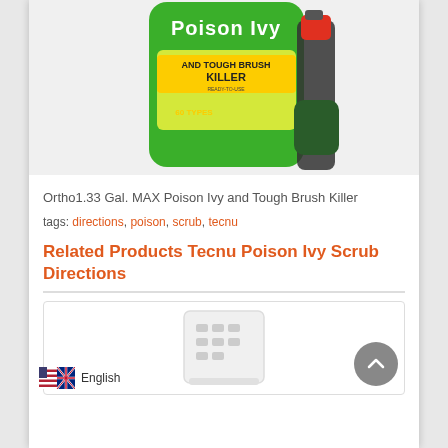[Figure (photo): Product photo of Ortho MAX Poison Ivy and Tough Brush Killer spray bottle (green, 1.33 Gal), held by a person wearing gloves]
Ortho1.33 Gal. MAX Poison Ivy and Tough Brush Killer
tags: directions, poison, scrub, tecnu
Related Products Tecnu Poison Ivy Scrub Directions
[Figure (photo): Product image of a white rectangular product (small appliance or device) inside a card/thumbnail]